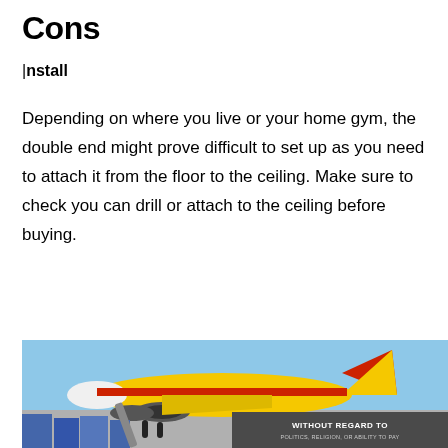Cons
Install
Depending on where you live or your home gym, the double end might prove difficult to set up as you need to attach it from the floor to the ceiling. Make sure to check you can drill or attach to the ceiling before buying.
[Figure (photo): Advertisement banner showing an airplane being loaded with cargo on a tarmac. Overlay text reads 'WITHOUT REGARD TO POLITICS, RELIGION, OR ABILITY TO PAY']